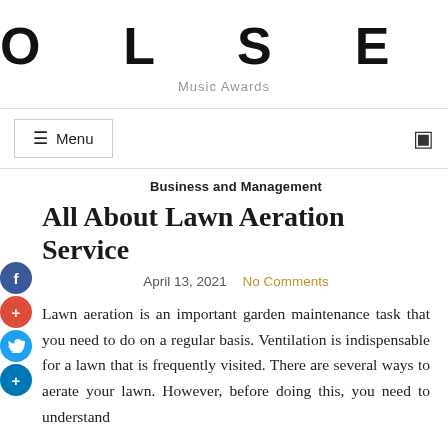OLSEN
Music Awards
☰ Menu
Business and Management
All About Lawn Aeration Service
April 13, 2021   No Comments
Lawn aeration is an important garden maintenance task that you need to do on a regular basis. Ventilation is indispensable for a lawn that is frequently visited. There are several ways to aerate your lawn. However, before doing this, you need to understand